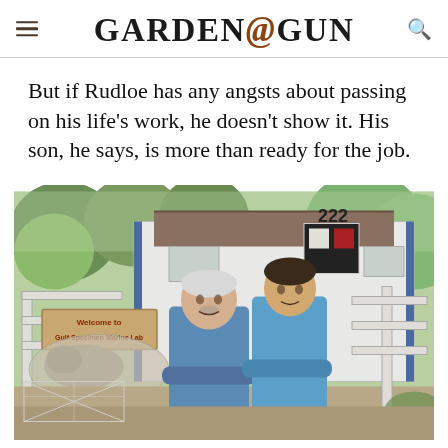GARDEN&GUN
But if Rudloe has any angsts about passing on his life’s work, he doesn’t show it. His son, he says, is more than ready for the job.
[Figure (photo): Two men standing in front of Gulf Specimen Marine Lab building (address 222). An older man with white hair and a younger man, both wearing blue shirts with arms crossed, posing in front of a sign that reads 'Welcome to Gulf Specimen Marine Lab'.]